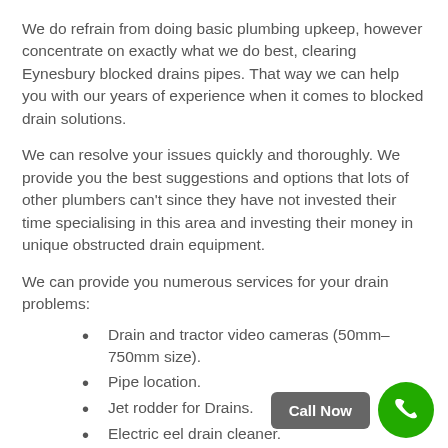We do refrain from doing basic plumbing upkeep, however concentrate on exactly what we do best, clearing Eynesbury blocked drains pipes. That way we can help you with our years of experience when it comes to blocked drain solutions.
We can resolve your issues quickly and thoroughly. We provide you the best suggestions and options that lots of other plumbers can't since they have not invested their time specialising in this area and investing their money in unique obstructed drain equipment.
We can provide you numerous services for your drain problems:
Drain and tractor video cameras (50mm–750mm size).
Pipe location.
Jet rodder for Drains.
Electric eel drain cleaner.
Wincan inspections.